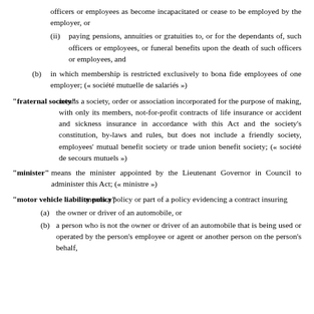officers or employees as become incapacitated or cease to be employed by the employer, or
(ii) paying pensions, annuities or gratuities to, or for the dependants of, such officers or employees, or funeral benefits upon the death of such officers or employees, and
(b) in which membership is restricted exclusively to bona fide employees of one employer; (« société mutuelle de salariés »)
"fraternal society" means a society, order or association incorporated for the purpose of making, with only its members, not-for-profit contracts of life insurance or accident and sickness insurance in accordance with this Act and the society's constitution, by-laws and rules, but does not include a friendly society, employees' mutual benefit society or trade union benefit society; (« société de secours mutuels »)
"minister" means the minister appointed by the Lieutenant Governor in Council to administer this Act; (« ministre »)
"motor vehicle liability policy" means a policy or part of a policy evidencing a contract insuring
(a) the owner or driver of an automobile, or
(b) a person who is not the owner or driver of an automobile that is being used or operated by the person's employee or agent or another person on the person's behalf,